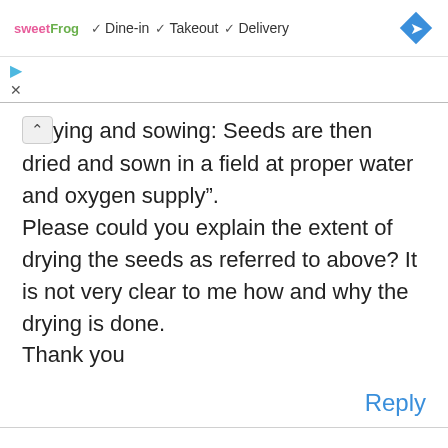[Figure (screenshot): Ad banner showing sweetFrog logo with Dine-in, Takeout, Delivery checkmarks and a blue navigation diamond icon]
ying and sowing: Seeds are then dried and sown in a field at proper water and oxygen supply”.
Please could you explain the extent of drying the seeds as referred to above? It is not very clear to me how and why the drying is done.
Thank you
Reply